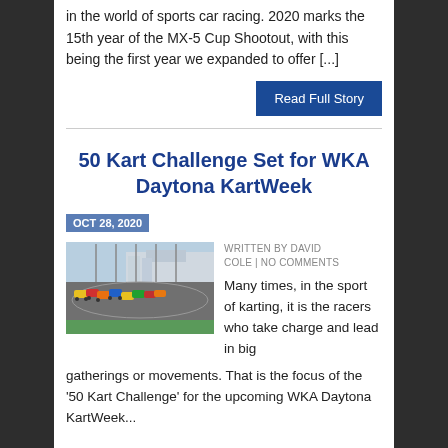in the world of sports car racing. 2020 marks the 15th year of the MX-5 Cup Shootout, with this being the first year we expanded to offer [...]
Read Full Story
50 Kart Challenge Set for WKA Daytona KartWeek
OCT 28, 2020
WRITTEN BY DAVID COLE | NO COMMENTS
[Figure (photo): Karts racing on a track at Daytona, multiple colorful karts grouped together on the circuit with grandstands visible in background]
Many times, in the sport of karting, it is the racers who take charge and lead in big gatherings or movements. That is the focus of the '50 Kart Challenge' for the upcoming WKA Daytona KartWeek...